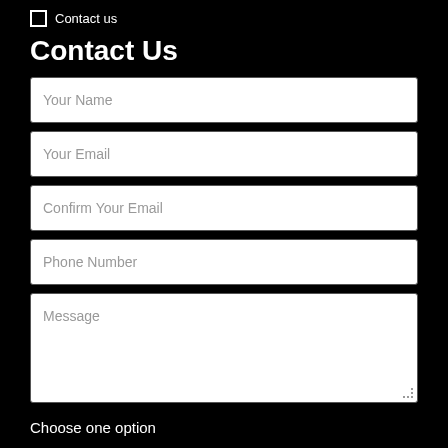Contact us
Contact Us
Your Name
Your Email
Confirm Your Email
Phone Number
Message
Choose one option
I have private insurance
I will pay for my consultation